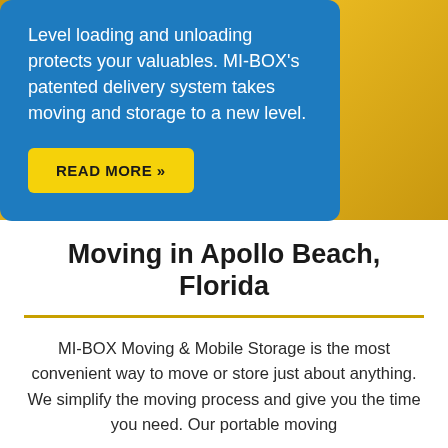Level loading and unloading protects your valuables. MI-BOX's patented delivery system takes moving and storage to a new level.
READ MORE »
Moving in Apollo Beach, Florida
MI-BOX Moving & Mobile Storage is the most convenient way to move or store just about anything. We simplify the moving process and give you the time you need. Our portable moving